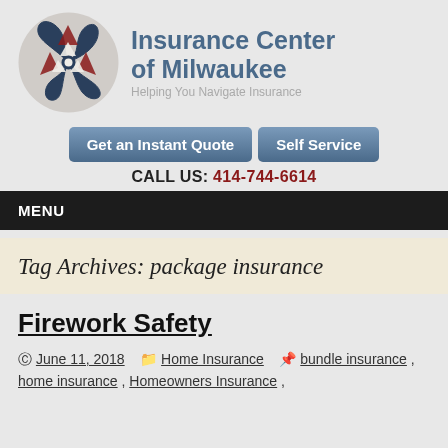[Figure (logo): Insurance Center of Milwaukee logo — circular Celtic-knot style emblem in dark red/maroon and navy blue, with triangular cutouts]
Insurance Center of Milwaukee
Helping You Navigate Insurance
Get an Instant Quote   Self Service
CALL US: 414-744-6614
MENU
Tag Archives: package insurance
Firework Safety
June 11, 2018   Home Insurance   bundle insurance , home insurance , Homeowners Insurance ,